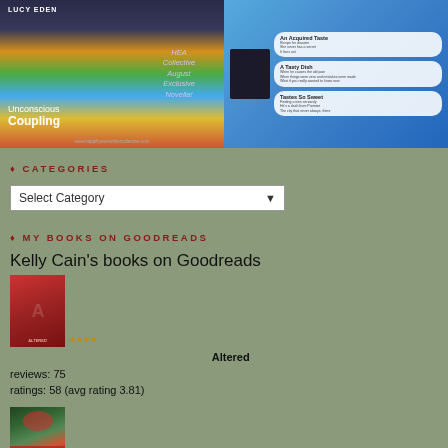[Figure (illustration): Two book cover images side by side. Left: 'Unconscious Coupling' by Lucy Eden with HEA Collective August Exclusive Novella text on colorful book spines background. Right: A Tasty Dish / An Acquired Taste / Tastes So Sweet book compilation image on blue background with bubble descriptions.]
♦ CATEGORIES
[Figure (screenshot): A dropdown select box labeled 'Select Category' with a dropdown arrow]
♦ MY BOOKS ON GOODREADS
Kelly Cain's books on Goodreads
[Figure (illustration): Book cover for 'Altered' with star rating]
Altered
reviews: 75
ratings: 58 (avg rating 3.81)
[Figure (illustration): Second book cover image showing a romantic couple with red bow/ribbon, partially visible]